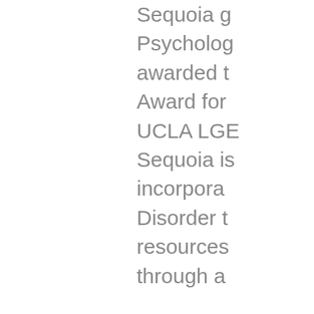Sequoia g Psychology awarded t Award for UCLA LGB Sequoia is incorpora Disorder t resources through a Sequoia is BIQTPOC People O' be a part systemic c who over tion